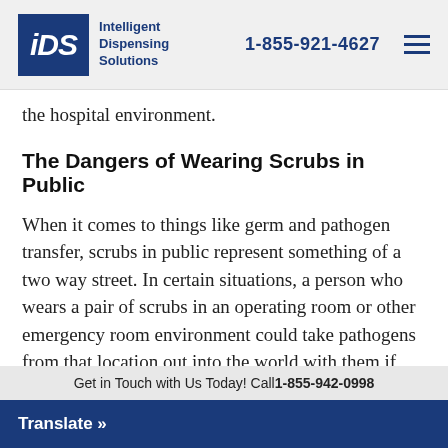IDS Intelligent Dispensing Solutions | 1-855-921-4627
the hospital environment.
The Dangers of Wearing Scrubs in Public
When it comes to things like germ and pathogen transfer, scrubs in public represent something of a two way street. In certain situations, a person who wears a pair of scrubs in an operating room or other emergency room environment could take pathogens from that location out into the world with them if they wear their scrubs when they leave the building. While it is unlikely that a
Get in Touch with Us Today! Call 1-855-942-0998
Translate »